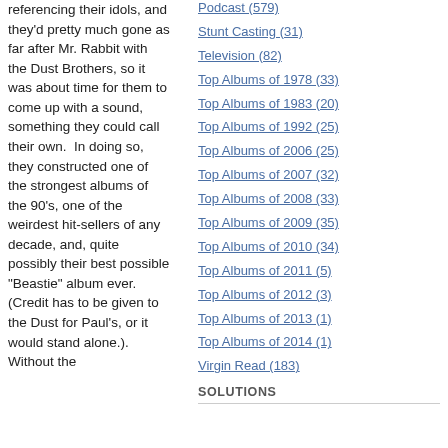referencing their idols, and they'd pretty much gone as far after Mr. Rabbit with the Dust Brothers, so it was about time for them to come up with a sound, something they could call their own.  In doing so, they constructed one of the strongest albums of the 90's, one of the weirdest hit-sellers of any decade, and, quite possibly their best possible "Beastie" album ever. (Credit has to be given to the Dust for Paul's, or it would stand alone.). Without the
Podcast (579)
Stunt Casting (31)
Television (82)
Top Albums of 1978 (33)
Top Albums of 1983 (20)
Top Albums of 1992 (25)
Top Albums of 2006 (25)
Top Albums of 2007 (32)
Top Albums of 2008 (33)
Top Albums of 2009 (35)
Top Albums of 2010 (34)
Top Albums of 2011 (5)
Top Albums of 2012 (3)
Top Albums of 2013 (1)
Top Albums of 2014 (1)
Virgin Read (183)
SOLUTIONS